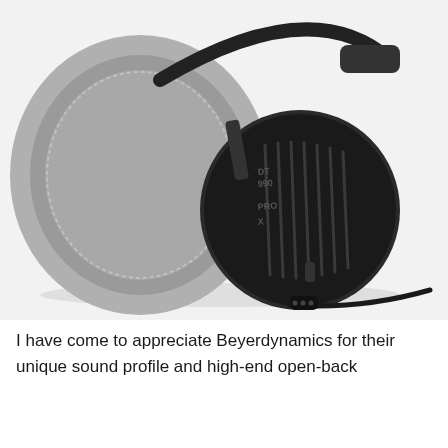[Figure (photo): Product photo of Beyerdynamic DT 990 PRO X headphones lying on a white surface, showing the ear cup with vented grille labeled 'DT 990 PRO X', velour ear pad, metal headband, and a detachable cable with a mini-XLR connector.]
I have come to appreciate Beyerdynamics for their unique sound profile and high-end open-back